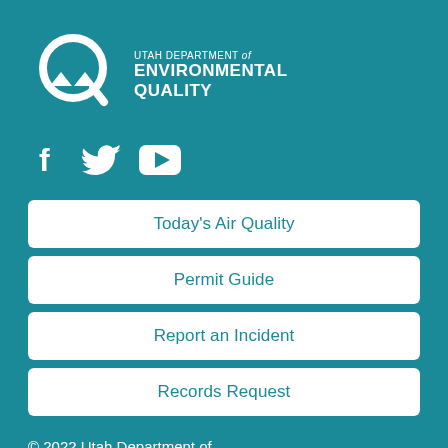[Figure (logo): Utah Department of Environmental Quality logo — circular Q shape with mountain/arrow inside, white on teal, with text 'UTAH DEPARTMENT of ENVIRONMENTAL QUALITY']
[Figure (illustration): Social media icons: Facebook (f), Twitter (bird), YouTube (play button) — white on teal]
Today's Air Quality
Permit Guide
Report an Incident
Records Request
© 2022 Utah Department of Environmental Quality